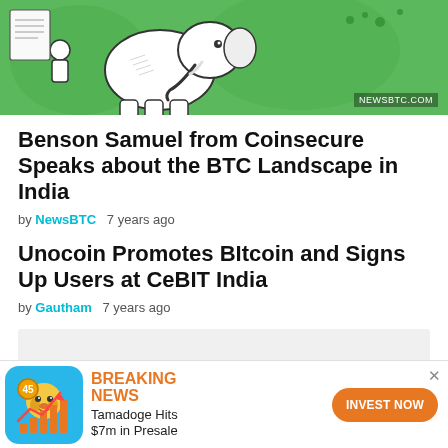[Figure (illustration): Green illustrated image with cartoon elephant and figures, watermark NEWSBTC.COM in bottom right]
Benson Samuel from Coinsecure Speaks about the BTC Landscape in India
by NewsBTC  7 years ago
Unocoin Promotes BItcoin and Signs Up Users at CeBIT India
by Gautham  7 years ago
[Figure (other): Gray advertisement placeholder box]
[Figure (infographic): Breaking News ad banner: Tamadoge Hits $7m in Presale, INVEST NOW button, Tamadoge logo on left]
BREAKING NEWS  Tamadoge Hits $7m in Presale  INVEST NOW